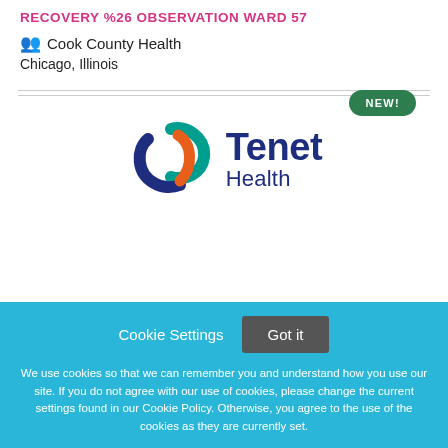RECOVERY %26 OBSERVATION WARD 57
Cook County Health
Chicago, Illinois
[Figure (logo): Tenet Health logo with circular swoosh design in teal, dark blue, and orange, followed by 'Tenet' in large dark blue bold text and 'Health' in smaller dark blue text]
Cookie Settings  Got it
We use cookies so that we can remember you and understand how you use our site. If you do not agree with our use of cookies, please change the current settings found in our Cookie Policy. Otherwise, you agree to the use of the cookies as they are currently set.